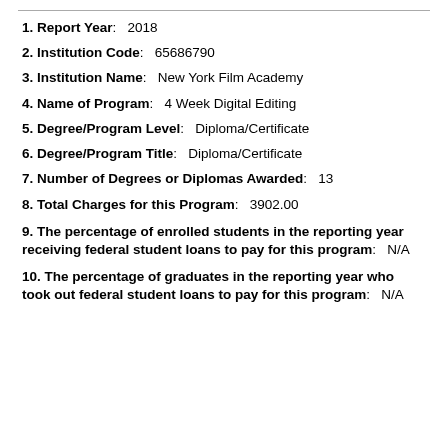1. Report Year:  2018
2. Institution Code:  65686790
3. Institution Name:  New York Film Academy
4. Name of Program:  4 Week Digital Editing
5. Degree/Program Level:  Diploma/Certificate
6. Degree/Program Title:  Diploma/Certificate
7. Number of Degrees or Diplomas Awarded:  13
8. Total Charges for this Program:  3902.00
9. The percentage of enrolled students in the reporting year receiving federal student loans to pay for this program:  N/A
10. The percentage of graduates in the reporting year who took out federal student loans to pay for this program:  N/A